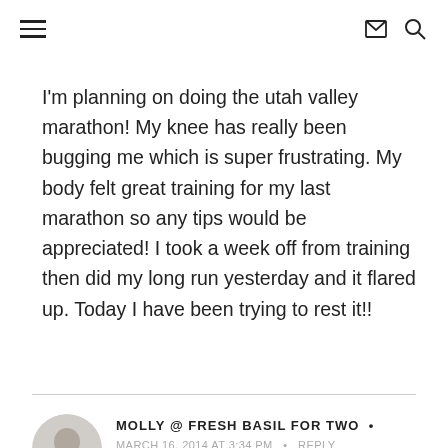≡  ✉ 🔍
I'm planning on doing the utah valley marathon! My knee has really been bugging me which is super frustrating. My body felt great training for my last marathon so any tips would be appreciated! I took a week off from training then did my long run yesterday and it flared up. Today I have been trying to rest it!!
MOLLY @ FRESH BASIL FOR TWO •
MARCH 16, 2014 AT 3:34 PM  •  REPLY